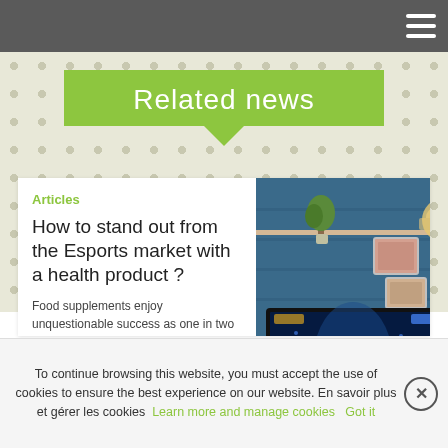Related news
Articles
How to stand out from the Esports market with a health product ?
Food supplements enjoy unquestionable success as one in two French people take them. But what about their relevance to a sector as
[Figure (photo): Person playing video games on a large monitor in a blue-lit room with shelves in the background]
To continue browsing this website, you must accept the use of cookies to ensure the best experience on our website. En savoir plus et gérer les cookies Learn more and manage cookies Got it